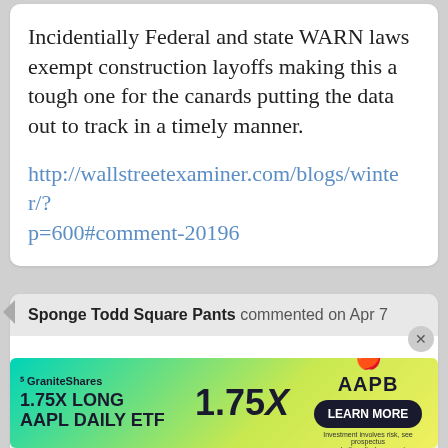Incidentially Federal and state WARN laws exempt construction layoffs making this a tough one for the canards putting the data out to track in a timely manner.
http://wallstreetexaminer.com/blogs/winter/?p=600#comment-20196
Sponge Todd Square Pants commented on Apr 7
Barry,
I argue that the jobs report
[Figure (screenshot): Advertisement banner for 1.75X Long AAPL Daily ETF (AAPB) by GraniteShares with Learn More button]
The internet has allowed many more